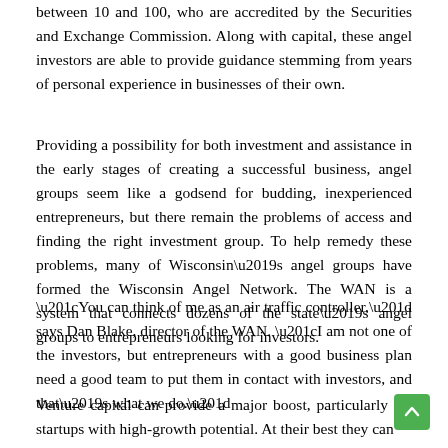between 10 and 100, who are accredited by the Securities and Exchange Commission. Along with capital, these angel investors are able to provide guidance stemming from years of personal experience in businesses of their own.
Providing a possibility for both investment and assistance in the early stages of creating a successful business, angel groups seem like a godsend for budding, inexperienced entrepreneurs, but there remain the problems of access and finding the right investment group. To help remedy these problems, many of Wisconsin’s angel groups have formed the Wisconsin Angel Network. The WAN is a system that connects dozens of the state’s angel groups to entrepreneurs looking for investors.
“You can think of me as an air traffic controller,” says Dan Blake, director of the WAN. “I am not one of the investors, but entrepreneurs with a good business plan need a good team to put them in contact with investors, and that’s what we do.”
Venture capital can provide a major boost, particularly for startups with high-growth potential. At their best they can